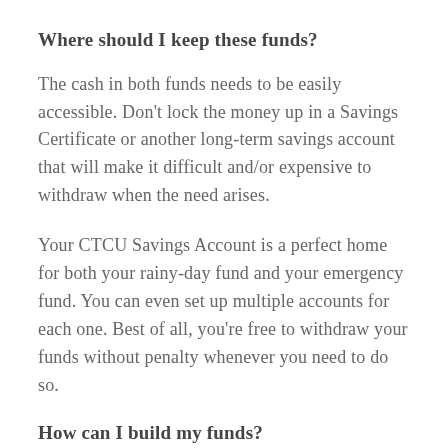Where should I keep these funds?
The cash in both funds needs to be easily accessible. Don't lock the money up in a Savings Certificate or another long-term savings account that will make it difficult and/or expensive to withdraw when the need arises.
Your CTCU Savings Account is a perfect home for both your rainy-day fund and your emergency fund. You can even set up multiple accounts for each one. Best of all, you're free to withdraw your funds without penalty whenever you need to do so.
How can I build my funds?